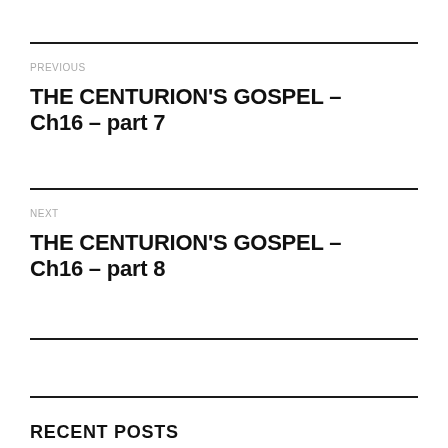PREVIOUS
THE CENTURION'S GOSPEL – Ch16 – part 7
NEXT
THE CENTURION'S GOSPEL – Ch16 – part 8
RECENT POSTS